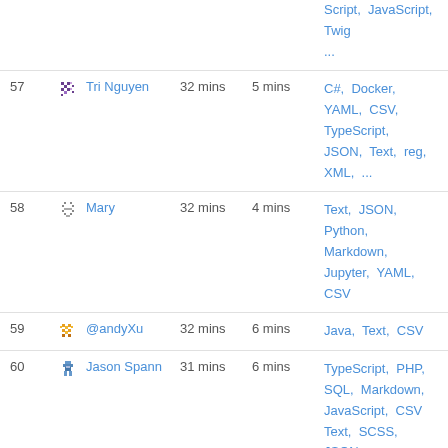| # | User | Total | Avg | Languages |
| --- | --- | --- | --- | --- |
|  |  |  |  | Script, JavaScript, Twig ... |
| 57 | Tri Nguyen | 32 mins | 5 mins | C#, Docker, YAML, CSV, TypeScript, JSON, Text, reg, XML, ... |
| 58 | Mary | 32 mins | 4 mins | Text, JSON, Python, Markdown, Jupyter, YAML, CSV |
| 59 | @andyXu | 32 mins | 6 mins | Java, Text, CSV |
| 60 | Jason Spann | 31 mins | 6 mins | TypeScript, PHP, SQL, Markdown, JavaScript, CSV, Text, SCSS, JSON |
| 61 | frankwhite | 31 mins | 4 mins | Go, JavaScript, CSV, Text, |